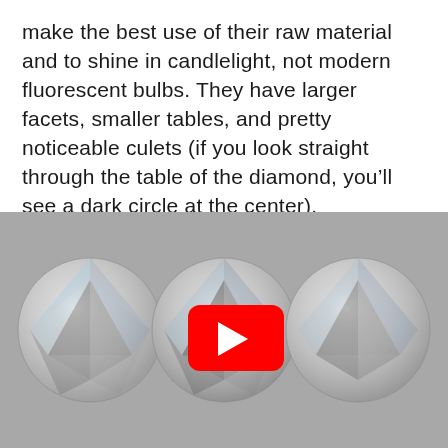make the best use of their raw material and to shine in candlelight, not modern fluorescent bulbs. They have larger facets, smaller tables, and pretty noticeable culets (if you look straight through the table of the diamond, you'll see a dark circle at the center).
[Figure (photo): Three round-cut diamonds viewed from above on a gray background, with a YouTube play button overlay on the center diamond.]